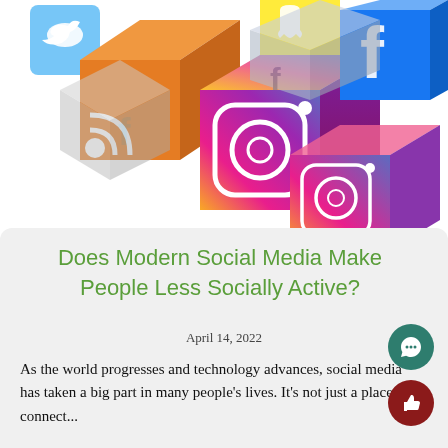[Figure (photo): 3D rendered colorful cubes with social media logos: Twitter, RSS feed, Instagram, Snapchat, Facebook displayed as stacked blocks on white background]
Does Modern Social Media Make People Less Socially Active?
April 14, 2022
As the world progresses and technology advances, social media has taken a big part in many people's lives. It's not just a place to connect...